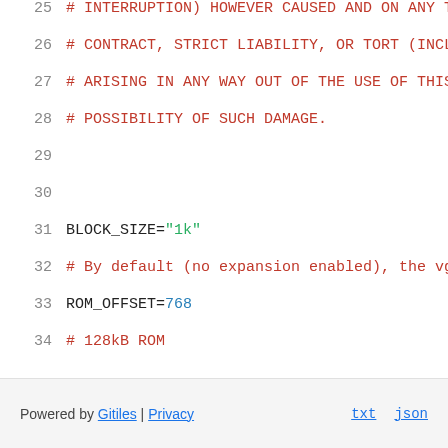25  # INTERRUPTION) HOWEVER CAUSED AND ON ANY THEOR
26  # CONTRACT, STRICT LIABILITY, OR TORT (INCLUDING
27  # ARISING IN ANY WAY OUT OF THE USE OF THIS SOF
28  # POSSIBILITY OF SUCH DAMAGE.
29
30
31  BLOCK_SIZE="1k"
32  # By default (no expansion enabled), the vga RO
33  ROM_OFFSET=768
34  # 128kB ROM
35  ROM_SIZE=128
36
37  # Path to store the ROM image
38  ROM_PATH="ROM.bin"
39
40  echo "Running: dd if=/dev/mem of=$ROM_PATH bs=$B
41  dd if=/dev/mem of=$ROM_PATH bs=$BLOCK_SIZE skip
Powered by Gitiles | Privacy    txt  json